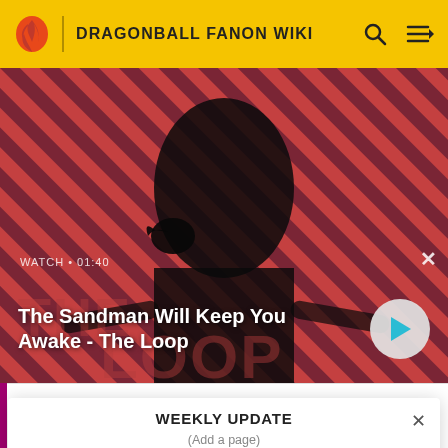DRAGONBALL FANON WIKI
[Figure (photo): Screenshot of a Fandom wiki page showing a video banner for 'The Sandman Will Keep You Awake - The Loop' with a dark-cloaked figure holding a raven against a red and dark diagonal striped background. Overlay shows WATCH • 01:40 and a play button.]
URGH!
WEEKLY UPDATE
(Add a page)
READ MORE